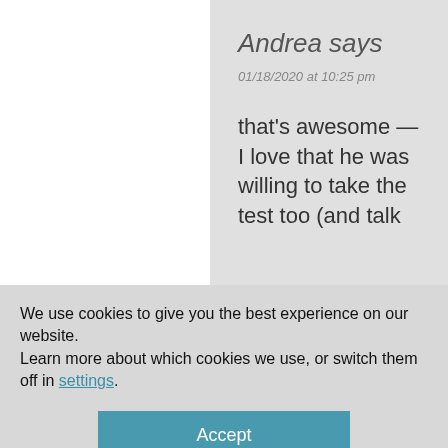Andrea says
01/18/2020 at 10:25 pm
that's awesome — I love that he was willing to take the test too (and talk
We use cookies to give you the best experience on our website.
Learn more about which cookies we use, or switch them off in settings.
Accept
Chris says